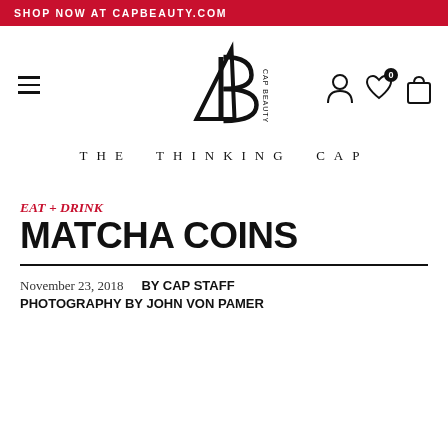SHOP NOW AT CAPBEAUTY.COM
[Figure (logo): Cap Beauty logo with stylized letter B and 'CAP BEAUTY' text, navigation icons (hamburger menu, user, heart with 0, shopping bag)]
THE THINKING CAP
EAT + DRINK
MATCHA COINS
November 23, 2018   BY CAP STAFF
PHOTOGRAPHY BY JOHN VON PAMER